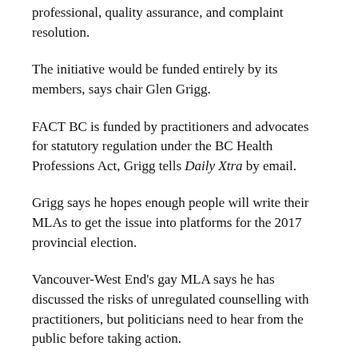professional, quality assurance, and complaint resolution.
The initiative would be funded entirely by its members, says chair Glen Grigg.
FACT BC is funded by practitioners and advocates for statutory regulation under the BC Health Professions Act, Grigg tells Daily Xtra by email.
Grigg says he hopes enough people will write their MLAs to get the issue into platforms for the 2017 provincial election.
Vancouver-West End's gay MLA says he has discussed the risks of unregulated counselling with practitioners, but politicians need to hear from the public before taking action.
“There may be an assumption that it already is regulated,